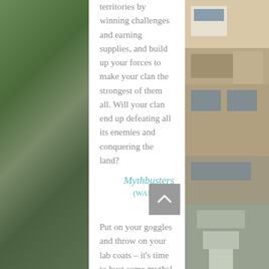[Figure (photo): Left side photo strip showing outdoor greenery and a parked car]
[Figure (photo): Right side photo strip showing a wooden building exterior with windows and deck]
territories by winning challenges and earning supplies, and build up your forces to make your clan the strongest of them all. Will your clan end up defeating all its enemies and conquering the land?
Mythbusters (WAITLIST)
$325
Put on your goggles and throw on your lab coats – it's time to bust some myths! Have you ever wondered if toast will always land butter side down or is yawning actually contagious? Well, your curiosity just earned you a spot on the Mythbusters team! This camp will test myths, science experiments, and urban legends that you have always